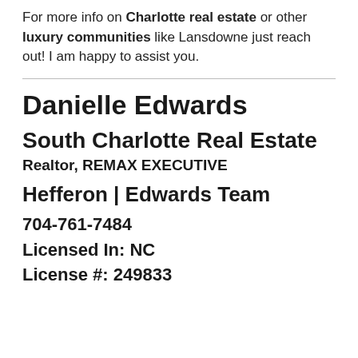For more info on Charlotte real estate or other luxury communities like Lansdowne just reach out! I am happy to assist you.
Danielle Edwards
South Charlotte Real Estate
Realtor, REMAX EXECUTIVE
Hefferon | Edwards Team
704-761-7484
Licensed In: NC
License #: 249833